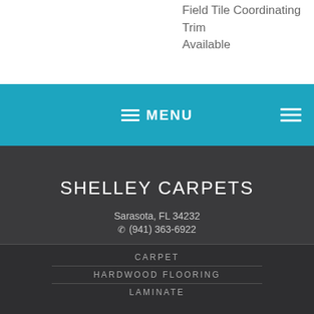Field Tile Coordinating Trim Available
[Figure (screenshot): Teal navigation bar with hamburger menu icon and MENU text, and a second hamburger icon on the right]
SHELLEY CARPETS
Sarasota, FL 34232
(941) 363-6922
[Figure (logo): Facebook icon in white circle on dark background]
CARPET
HARDWOOD FLOORING
LAMINATE